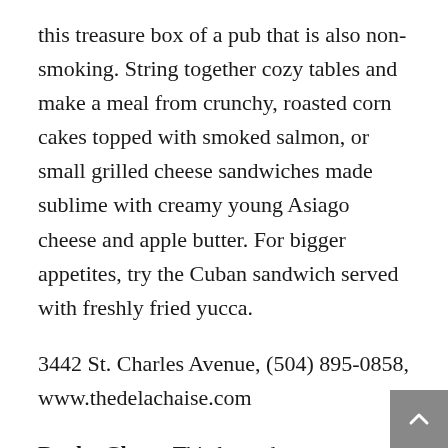this treasure box of a pub that is also non-smoking. String together cozy tables and make a meal from crunchy, roasted corn cakes topped with smoked salmon, or small grilled cheese sandwiches made sublime with creamy young Asiago cheese and apple butter. For bigger appetites, try the Cuban sandwich served with freshly fried yucca.
3442 St. Charles Avenue, (504) 895-0858, www.thedelachaise.com
Dooky Chase. This legendary restaurant in Tremé has a speakeasy quality to it. There's no website and the dining room could pass as your granny's parlor if she had an amazing collection of African-America and an equally amazing lunchtime buffet. Leah